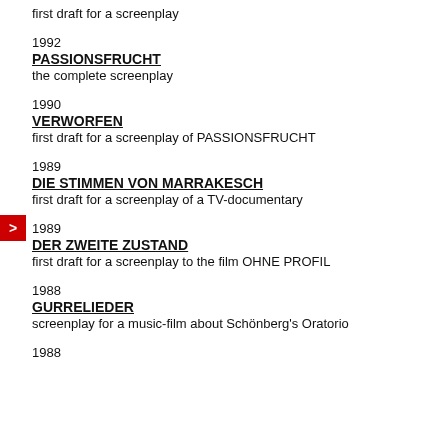first draft for a screenplay
1992
PASSIONSFRUCHT
the complete screenplay
1990
VERWORFEN
first draft for a screenplay of PASSIONSFRUCHT
1989
DIE STIMMEN VON MARRAKESCH
first draft for a screenplay of a TV-documentary
1989
DER ZWEITE ZUSTAND
first draft for a screenplay to the film OHNE PROFIL
1988
GURRELIEDER
screenplay for a music-film about Schönberg's Oratorio
1988